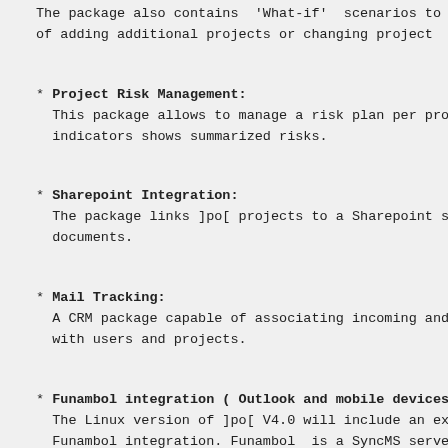The package also contains 'What-if' scenarios to of adding additional projects or changing project
* Project Risk Management:
  This package allows to manage a risk plan per pro indicators shows summarized risks.
* Sharepoint Integration:
  The package links ]po[ projects to a Sharepoint s documents.
* Mail Tracking:
  A CRM package capable of associating incoming and with users and projects.
* Funambol integration ( Outlook and mobile devices
  The Linux version of ]po[ V4.0 will include an ex Funambol integration. Funambol is a SyncMS serve synchronize tasks and calendar items across mobil PIM software including MS-Outlook. We expect to i integration during the course of the V4.0 lifecyc
* SLA Management and improved Helpdesk:
  A ITSM package that provides "SLA Parameters" to contractual rules defined in SLAs and a compo hours. Indicators automatically track the val warning managers if defined SLA levels are close